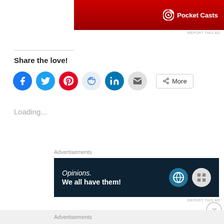[Figure (other): Pocket Casts advertisement banner, red background with Pocket Casts logo and icon]
REPORT THIS AD
Share the love!
[Figure (other): Social sharing buttons: Facebook, Twitter, Pinterest, Reddit, LinkedIn, Email, and More]
Loading...
Advertisements
[Figure (other): WordPress advertisement: Opinions. We all have them! Dark navy background with WordPress and grid logos]
REPORT THIS AD
Advertisements